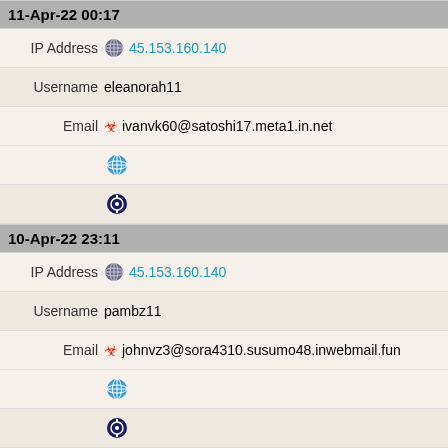11-Apr-22 00:17
IP Address  45.153.160.140
Username  eleanorah11
Email  ivanvk60@satoshi17.meta1.in.net
[Figure (illustration): Globe icon]
[Figure (illustration): Shield/sword icon]
10-Apr-22 23:11
IP Address  45.153.160.140
Username  pambz11
Email  johnvz3@sora4310.susumo48.inwebmail.fun
[Figure (illustration): Globe icon]
[Figure (illustration): Shield/sword icon]
10-Apr-22 23:06
IP Address  45.153.160.140
Username  marvinst3
Email  dianneqs6@tadao60.meta1.in.net
[Figure (illustration): Globe icon]